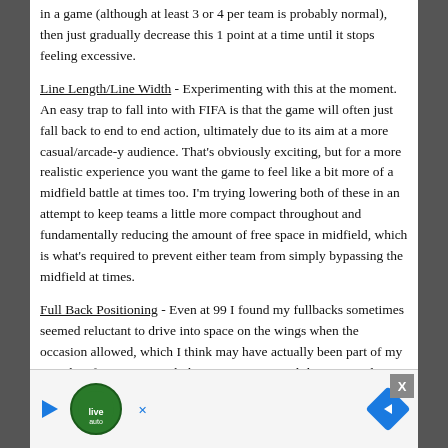in a game (although at least 3 or 4 per team is probably normal), then just gradually decrease this 1 point at a time until it stops feeling excessive.
Line Length/Line Width - Experimenting with this at the moment. An easy trap to fall into with FIFA is that the game will often just fall back to end to end action, ultimately due to its aim at a more casual/arcade-y audience. That's obviously exciting, but for a more realistic experience you want the game to feel like a bit more of a midfield battle at times too. I'm trying lowering both of these in an attempt to keep teams a little more compact throughout and fundamentally reducing the amount of free space in midfield, which is what's required to prevent either team from simply bypassing the midfield at times.
Full Back Positioning - Even at 99 I found my fullbacks sometimes seemed reluctant to drive into space on the wings when the occasion allowed, which I think may have actually been part of my mistaken frustrations with the Run Frequency slider previously. I've realised that the difference been 99 and 100 in a lot of sliders can be massive and almost like an on/off switch at times, so 100 here prompts my fullbacks to make use of space of their own accord and prevents me from having to spam the left trigger to get them to make a run.
First To... this see... the CP...
[Figure (other): Advertisement overlay with green circular logo, play button arrow, navigation arrow icon, and close X button]